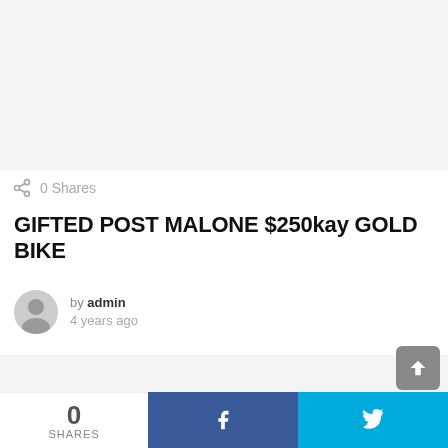[Figure (other): Top image placeholder area, light gray background]
0 Shares
GIFTED POST MALONE $250kay GOLD BIKE
by admin
4 years ago
[Figure (other): Content image placeholder area, light gray background]
0
SHARES